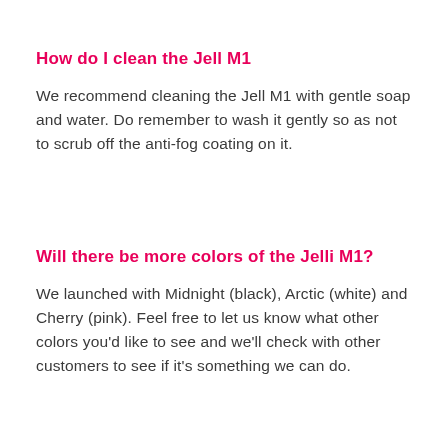How do I clean the Jell M1
We recommend cleaning the Jell M1 with gentle soap and water. Do remember to wash it gently so as not to scrub off the anti-fog coating on it.
Will there be more colors of the Jelli M1?
We launched with Midnight (black), Arctic (white) and Cherry (pink). Feel free to let us know what other colors you'd like to see and we'll check with other customers to see if it's something we can do.